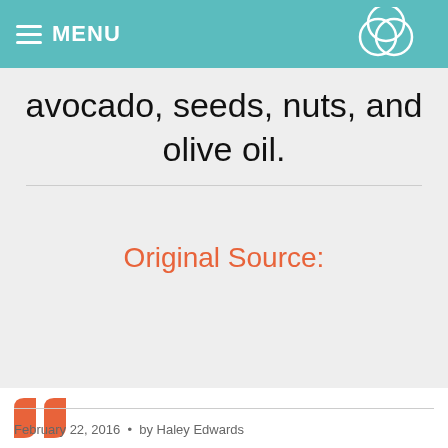MENU
avocado, seeds, nuts, and olive oil.
Original Source:
http://www.mindbodygreen.com/0-23438/become-a-breakfast-badass-with-these-simple-tips.html
February 22, 2016  •  by Haley Edwards